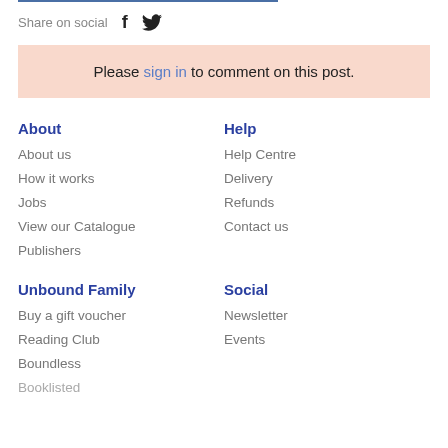Share on social
Please sign in to comment on this post.
About
About us
How it works
Jobs
View our Catalogue
Publishers
Help
Help Centre
Delivery
Refunds
Contact us
Unbound Family
Buy a gift voucher
Reading Club
Boundless
Social
Newsletter
Events